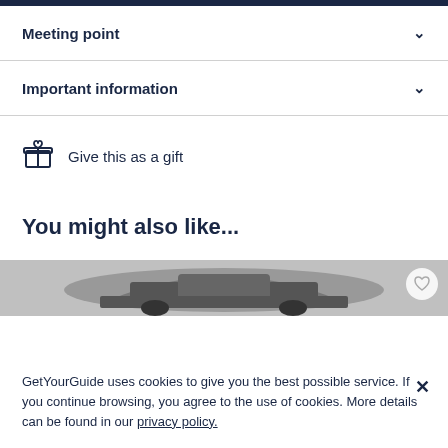Meeting point
Important information
Give this as a gift
You might also like...
[Figure (photo): Partial view of a car image strip with a heart/favourite button in the top right corner]
GetYourGuide uses cookies to give you the best possible service. If you continue browsing, you agree to the use of cookies. More details can be found in our privacy policy.